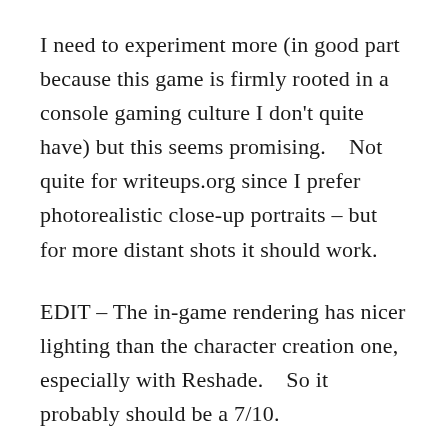I need to experiment more (in good part because this game is firmly rooted in a console gaming culture I don't quite have) but this seems promising.    Not quite for writeups.org since I prefer photorealistic close-up portraits – but for more distant shots it should work.
EDIT – The in-game rendering has nicer lighting than the character creation one, especially with Reshade.    So it probably should be a 7/10.